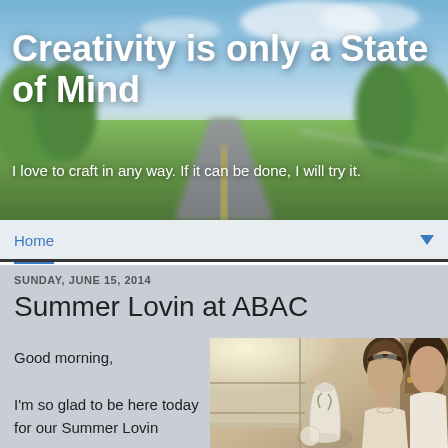[Figure (photo): Blog header banner showing a road stretching into the distance with blue sky and green trees on both sides, blurred background]
Creativity is only a State of Mind
I love to craft in any way. If it can be done, I will try it.
Home
SUNDAY, JUNE 15, 2014
Summer Lovin at ABAC
Good morning,

I'm so glad to be here today for our Summer Lovin at ABAC
[Figure (photo): Photo of two women looking at antique items including a white vase in what appears to be an antique shop or market]